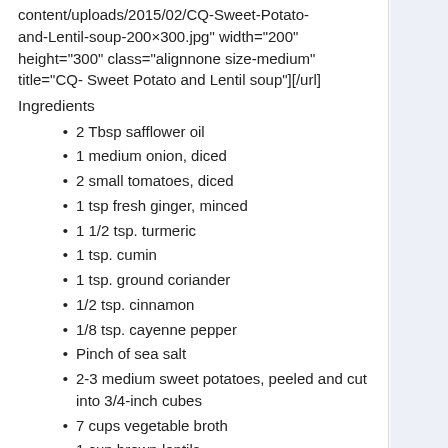content/uploads/2015/02/CQ-Sweet-Potato-and-Lentil-soup-200×300.jpg" width="200" height="300" class="alignnone size-medium" title="CQ- Sweet Potato and Lentil soup"][/url]
Ingredients
2 Tbsp safflower oil
1 medium onion, diced
2 small tomatoes, diced
1 tsp fresh ginger, minced
1 1/2 tsp. turmeric
1 tsp. cumin
1 tsp. ground coriander
1/2 tsp. cinnamon
1/8 tsp. cayenne pepper
Pinch of sea salt
2-3 medium sweet potatoes, peeled and cut into 3/4-inch cubes
7 cups vegetable broth
1 cup brown lentils
1 cup baby spinach or kale